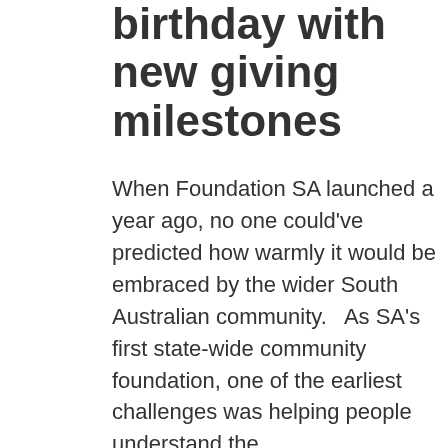birthday with new giving milestones
When Foundation SA launched a year ago, no one could've predicted how warmly it would be embraced by the wider South Australian community.   As SA's first state-wide community foundation, one of the earliest challenges was helping people understand the